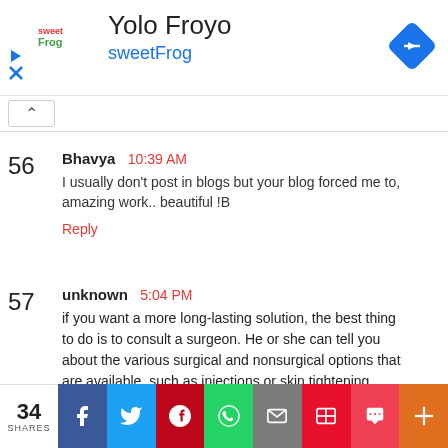[Figure (screenshot): Ad banner for Yolo Froyo / sweetFrog with logo, navigation icon, and close/info icons on the left]
56  Bhavya  10:39 AM
I usually don't post in blogs but your blog forced me to, amazing work.. beautiful !B
Reply
57  unknown  5:04 PM
if you want a more long-lasting solution, the best thing to do is to consult a surgeon. He or she can tell you about the various surgical and nonsurgical options that are available, such as injections or skin tightening.
34 SHARES  [Facebook] [Twitter] [Pinterest] [WhatsApp] [Email] [Flipboard] [Pocket] [Plus]